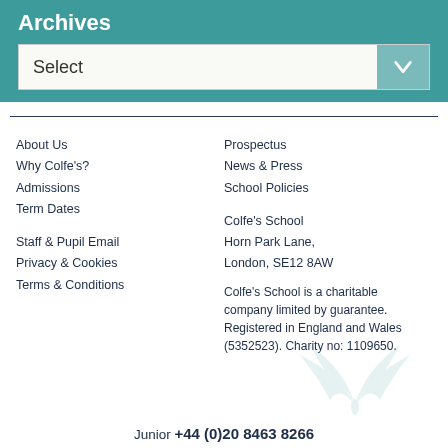Archives
Select
About Us
Why Colfe's?
Admissions
Term Dates
Staff & Pupil Email
Privacy & Cookies
Terms & Conditions
Prospectus
News & Press
School Policies
Colfe's School
Horn Park Lane,
London, SE12 8AW
Colfe's School is a charitable company limited by guarantee. Registered in England and Wales (5352523). Charity no: 1109650.
Junior +44 (0)20 8463 8266